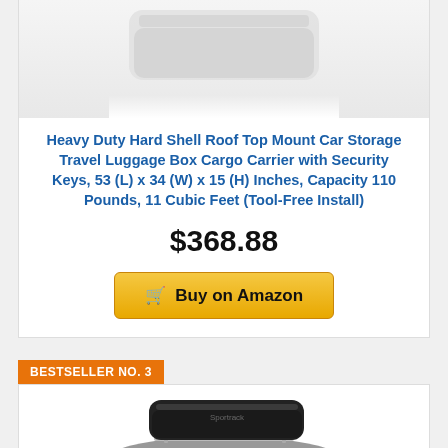[Figure (photo): Product photo of a hard shell roof top cargo carrier box mounted on a car, partially visible at top of page]
Heavy Duty Hard Shell Roof Top Mount Car Storage Travel Luggage Box Cargo Carrier with Security Keys, 53 (L) x 34 (W) x 15 (H) Inches, Capacity 110 Pounds, 11 Cubic Feet (Tool-Free Install)
$368.88
Buy on Amazon
BESTSELLER NO. 3
[Figure (photo): Product photo of a black Sportrack roof top cargo carrier box mounted on the roof rack of a silver car, shown from a rear three-quarter angle]